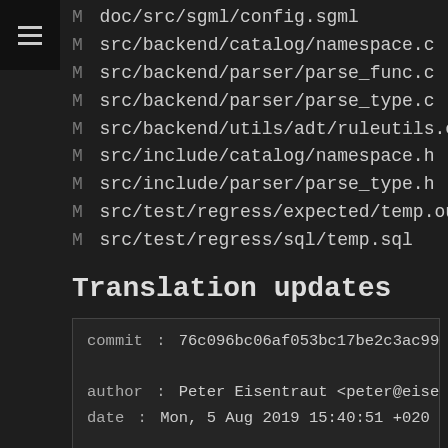M doc/src/sgml/config.sgml
M src/backend/catalog/namespace.c
M src/backend/parser/parse_func.c
M src/backend/parser/parse_type.c
M src/backend/utils/adt/ruleutils.c
M src/include/catalog/namespace.h
M src/include/parser/parse_type.h
M src/test/regress/expected/temp.out
M src/test/regress/sql/temp.sql
Translation updates
commit    : 76c096bc06af053bc17be2c3ac995
author    : Peter Eisentraut <peter@eisen
date      : Mon, 5 Aug 2019 15:40:51 +020

committer: Peter Eisentraut <peter@eisen